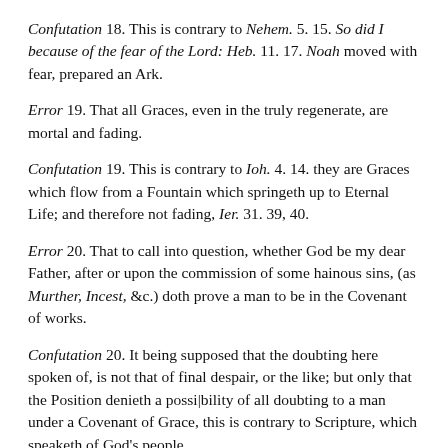Confutation 18. This is contrary to Nehem. 5. 15. So did I because of the fear of the Lord: Heb. 11. 17. Noah moved with fear, prepared an Ark.
Error 19. That all Graces, even in the truly regenerate, are mortal and fading.
Confutation 19. This is contrary to Ioh. 4. 14. they are Graces which flow from a Fountain which springeth up to Eternal Life; and therefore not fading, Ier. 31. 39, 40.
Error 20. That to call into question, whether God be my dear Father, after or upon the commission of some hainous sins, (as Murther, Incest, &c.) doth prove a man to be in the Covenant of works.
Confutation 20. It being supposed that the doubting here spoken of, is not that of final despair, or the like; but only that the Position denieth a possi|bility of all doubting to a man under a Covenant of Grace, this is contrary to Scripture, which speaketh of God's people